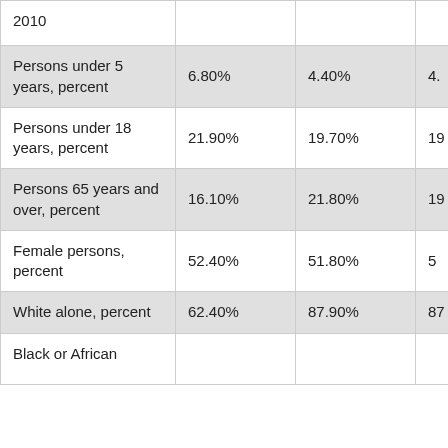|  | Col1 | Col2 | Col3 |
| --- | --- | --- | --- |
| 2010 |  |  |  |
| Persons under 5 years, percent | 6.80% | 4.40% | 4. |
| Persons under 18 years, percent | 21.90% | 19.70% | 19 |
| Persons 65 years and over, percent | 16.10% | 21.80% | 19 |
| Female persons, percent | 52.40% | 51.80% | 5 |
| White alone, percent | 62.40% | 87.90% | 87 |
| Black or African |  |  |  |